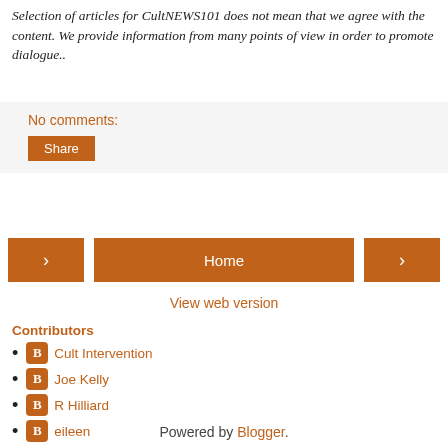Selection of articles for CultNEWS101 does not mean that we agree with the content. We provide information from many points of view in order to promote dialogue..
No comments:
Share
< Home >
View web version
Contributors
Cult Intervention
Joe Kelly
R Hilliard
eileen
Powered by Blogger.